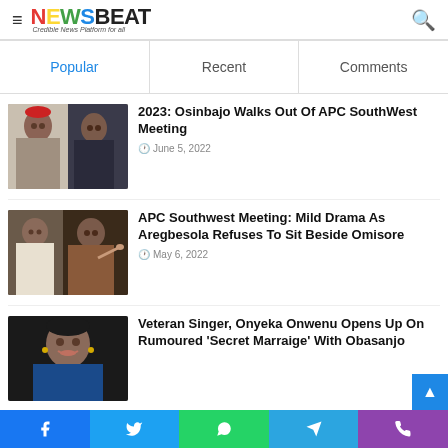NEWSBEAT — Credible News Platform for all
Popular | Recent | Comments
[Figure (photo): Two men in political attire — one in red cap/grey agbada, one in dark outfit]
2023: Osinbajo Walks Out Of APC SouthWest Meeting
June 5, 2022
[Figure (photo): Two men, one in white, one in patterned outfit pointing finger]
APC Southwest Meeting: Mild Drama As Aregbesola Refuses To Sit Beside Omisore
May 6, 2022
[Figure (photo): Woman in blue dress smiling — Veteran Singer Onyeka Onwenu]
Veteran Singer, Onyeka Onwenu Opens Up On Rumoured ‘Secret Marraige’ With Obasanjo
Facebook | Twitter | WhatsApp | Telegram | Phone